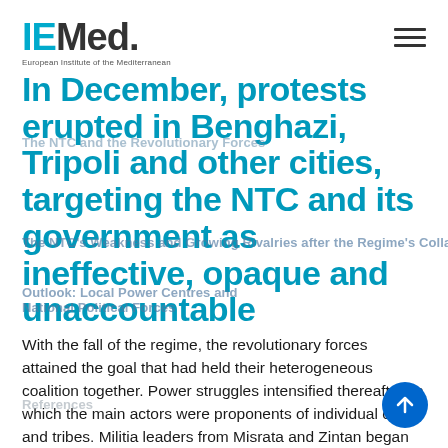IEMed. European Institute of the Mediterranean
In December, protests erupted in Benghazi, Tripoli and other cities, targeting the NTC and its government as ineffective, opaque and unaccountable
The NTC and the Revolutionary Forces
The NTC's Weakness and Growing Rivalries after the Regime's Collapse
Outlook: Local Power Centres and National Political Forces
References
With the fall of the regime, the revolutionary forces attained the goal that had held their heterogeneous coalition together. Power struggles intensified thereafter, in which the main actors were proponents of individual cities and tribes. Militia leaders from Misrata and Zintan began demanding greater political influence